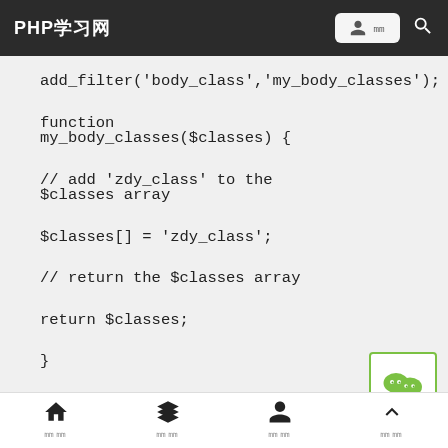PHP学习网
[Figure (screenshot): Code block showing PHP function: add_filter, function my_body_classes, array push, return]
首页 | 分类 | 用户 | 顶部